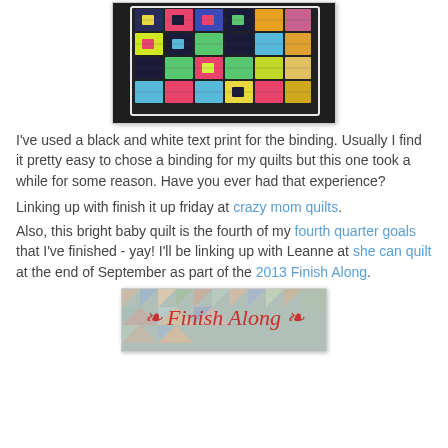[Figure (photo): A colorful patchwork quilt with bright squares (pink, yellow, blue, green, black) draped over a dark sofa.]
I've used a black and white text print for the binding.  Usually I find it pretty easy to chose a binding for my quilts but this one took a while for some reason.  Have you ever had that experience?
Linking up with finish it up friday at crazy mom quilts.
Also, this bright baby quilt is the fourth of my fourth quarter goals that I've finished - yay!  I'll be linking up with Leanne at she can quilt at the end of September as part of the 2013 Finish Along.
[Figure (photo): A quilt with triangular patchwork pattern and decorative red scrollwork/text design, partially visible at bottom of page.]